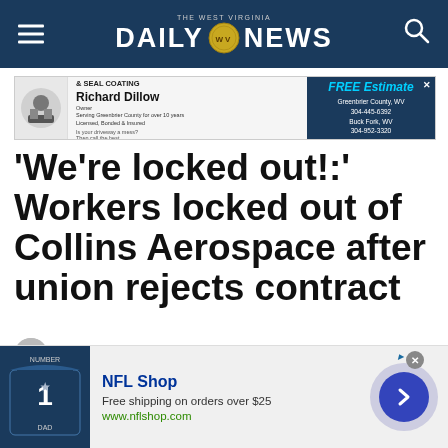THE WEST VIRGINIA DAILY NEWS
[Figure (other): Advertisement banner for Richard Dillow asphalt paving and seal coating, Greenbrier County WV]
'We're locked out!:' Workers locked out of Collins Aerospace after union rejects contract
by Sarah Mansheim — May 24, 2022
[Figure (other): NFL Shop advertisement: Free shipping on orders over $25, www.nflshop.com]